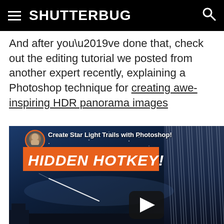SHUTTERBUG
And after you’ve done that, check out the editing tutorial we posted from another expert recently, explaining a Photoshop technique for creating awe-inspiring HDR panorama images
[Figure (screenshot): YouTube video thumbnail for 'Create Star Light Trails with Photoshop! HIDDEN HOTKEY!' showing a night sky with star trails and a shooting star, with a play button overlay]